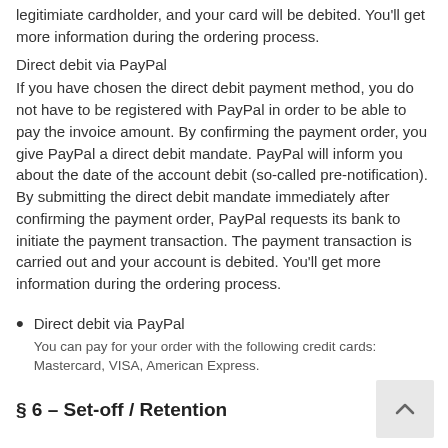legitimate cardholder, and your card will be debited. You'll get more information during the ordering process.
Direct debit via PayPal
If you have chosen the direct debit payment method, you do not have to be registered with PayPal in order to be able to pay the invoice amount. By confirming the payment order, you give PayPal a direct debit mandate. PayPal will inform you about the date of the account debit (so-called pre-notification). By submitting the direct debit mandate immediately after confirming the payment order, PayPal requests its bank to initiate the payment transaction. The payment transaction is carried out and your account is debited. You'll get more information during the ordering process.
Direct debit via PayPal
You can pay for your order with the following credit cards: Mastercard, VISA, American Express.
§ 6 – Set-off / Retention